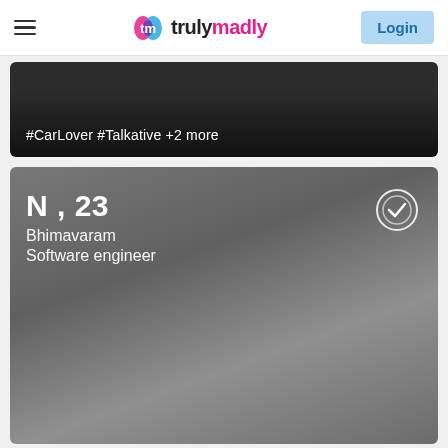trulymadly — Login
[Figure (screenshot): Dark card showing hashtags: #CarLover #Talkative +2 more]
#CarLover #Talkative +2 more
[Figure (screenshot): Profile card for N, 23, Bhimavaram, Software engineer with verified badge]
N , 23
Bhimavaram
Software engineer